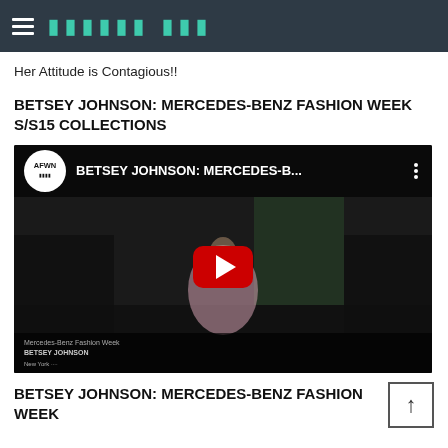■■■■■■ ■■■
Her Attitude is Contagious!!
BETSEY JOHNSON: MERCEDES-BENZ FASHION WEEK S/S15 COLLECTIONS
[Figure (screenshot): YouTube video thumbnail showing a fashion runway with a model in a pink dress. Video title: BETSEY JOHNSON: MERCEDES-B... Channel logo: AFWN. Dark overlay with a red YouTube play button in center.]
BETSEY JOHNSON: MERCEDES-BENZ FASHION WEEK